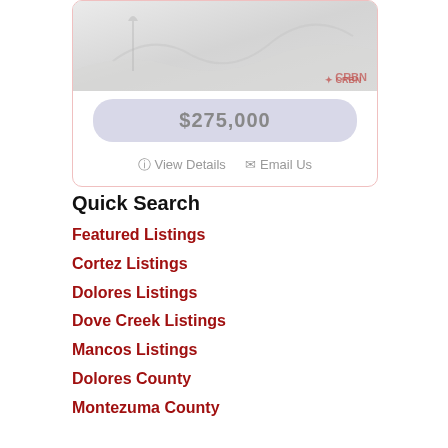[Figure (photo): Property listing photo showing a landscape/land view, partially visible, with CRBN watermark in bottom right corner]
$275,000
View Details   Email Us
Quick Search
Featured Listings
Cortez Listings
Dolores Listings
Dove Creek Listings
Mancos Listings
Dolores County
Montezuma County